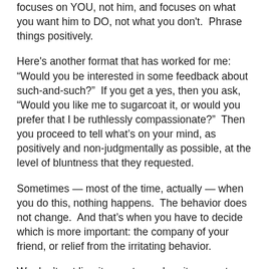focuses on YOU, not him, and focuses on what you want him to DO, not what you don't.  Phrase things positively.
Here's another format that has worked for me: “Would you be interested in some feedback about such-and-such?”  If you get a yes, then you ask, “Would you like me to sugarcoat it, or would you prefer that I be ruthlessly compassionate?”  Then you proceed to tell what’s on your mind, as positively and non-judgmentally as possible, at the level of bluntness that they requested.
Sometimes — most of the time, actually — when you do this, nothing happens.  The behavior does not change.  And that’s when you have to decide which is more important: the company of your friend, or relief from the irritating behavior.
We don’t get line-item vetoes when it comes to friends — you accept or reject the whole package.  And a big part of